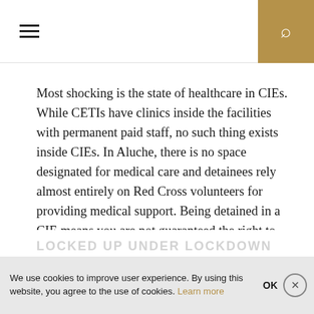Navigation bar with hamburger menu and search icon
Most shocking is the state of healthcare in CIEs. While CETIs have clinics inside the facilities with permanent paid staff, no such thing exists inside CIEs. In Aluche, there is no space designated for medical care and detainees rely almost entirely on Red Cross volunteers for providing medical support. Being detained in a CIE means you are not guaranteed the right to medical care or the right to medical confidentiality. If you are confirmed to be deported you cannot receive a medical exam between confirmation and deportation.
We use cookies to improve user experience. By using this website, you agree to the use of cookies. Learn more OK